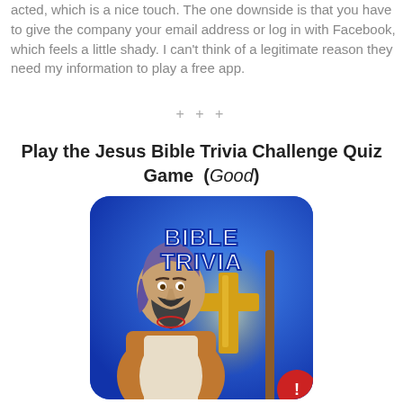acted, which is a nice touch. The one downside is that you have to give the company your email address or log in with Facebook, which feels a little shady. I can't think of a legitimate reason they need my information to play a free app.
+ + +
Play the Jesus Bible Trivia Challenge Quiz Game (Good)
[Figure (illustration): App icon/screenshot for Bible Trivia game showing an illustrated bearded man in robes with a gold cross and the text 'BIBLE TRIVIA' in white bold letters on a blue background.]